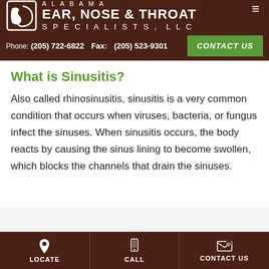ALABAMA EAR, NOSE & THROAT SPECIALISTS, LLC — Phone: (205) 722-6822   Fax: (205) 523-9301   CONTACT US
What is Sinusitis?
Also called rhinosinusitis, sinusitis is a very common condition that occurs when viruses, bacteria, or fungus infect the sinuses. When sinusitis occurs, the body reacts by causing the sinus lining to become swollen, which blocks the channels that drain the sinuses.
LOCATE   CALL   CONTACT US